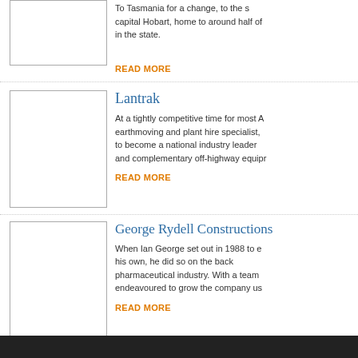[Figure (photo): Thumbnail image placeholder for first article]
To Tasmania for a change, to the state capital Hobart, home to around half of in the state.
READ MORE
[Figure (photo): Thumbnail image placeholder for Lantrak article]
Lantrak
At a tightly competitive time for most A earthmoving and plant hire specialist, to become a national industry leader and complementary off-highway equipr
READ MORE
[Figure (photo): Thumbnail image placeholder for George Rydell Constructions article]
George Rydell Constructions
When Ian George set out in 1988 to e his own, he did so on the back pharmaceutical industry. With a team endeavoured to grow the company us
READ MORE
Next Page »